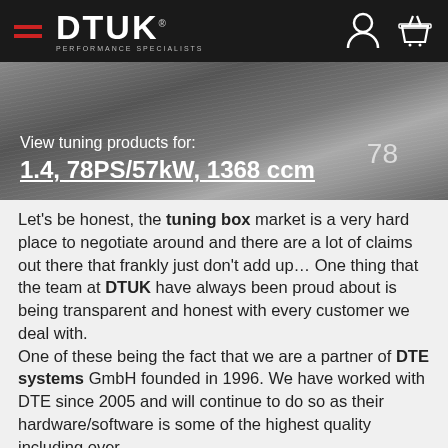DTUK PERFORMANCE SPECIALISTS
[Figure (screenshot): DTUK website hero banner with brushed metal texture showing 'View tuning products for: 1.4, 78PS/57kW, 1368 ccm' and number 78]
View tuning products for:
1.4, 78PS/57kW, 1368 ccm
Let's be honest, the tuning box market is a very hard place to negotiate around and there are a lot of claims out there that frankly just don't add up… One thing that the team at DTUK have always been proud about is being transparent and honest with every customer we deal with.
One of these being the fact that we are a partner of DTE systems GmbH founded in 1996. We have worked with DTE since 2005 and will continue to do so as their hardware/software is some of the highest quality including over 3500 TUV approved applications. This is for a reason…